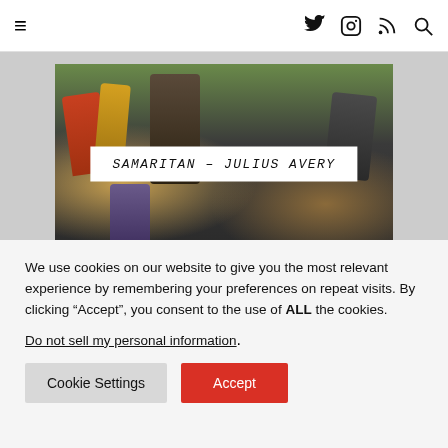Navigation header with hamburger menu and social icons (Twitter, Instagram, RSS, Search)
[Figure (photo): Movie still from Samaritan directed by Julius Avery showing an action street scene with people mid-air, overlaid with a white label reading SAMARITAN – JULIUS AVERY]
[Figure (photo): Partial movie still showing two characters with a white label beginning THREE THOUSAND YEARS OF ...]
We use cookies on our website to give you the most relevant experience by remembering your preferences on repeat visits. By clicking "Accept", you consent to the use of ALL the cookies.
Do not sell my personal information.
Cookie Settings  Accept